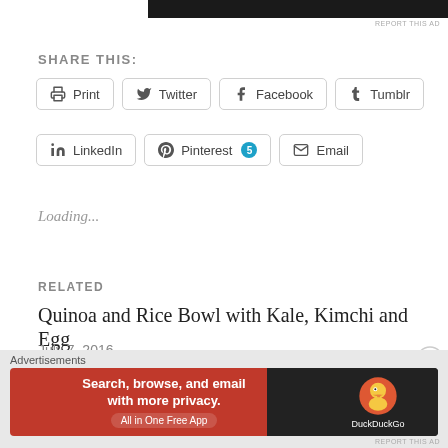[Figure (screenshot): Top black banner (partial website screenshot)]
REPORT THIS AD
SHARE THIS:
Print · Twitter · Facebook · Tumblr · LinkedIn · Pinterest 5 · Email
Loading...
RELATED
Quinoa and Rice Bowl with Kale, Kimchi and Egg
July 7, 2016
In "Kale"
Sweet Potato Casserole
Advertisements
[Figure (screenshot): DuckDuckGo advertisement banner: Search, browse, and email with more privacy. All in One Free App]
REPORT THIS AD